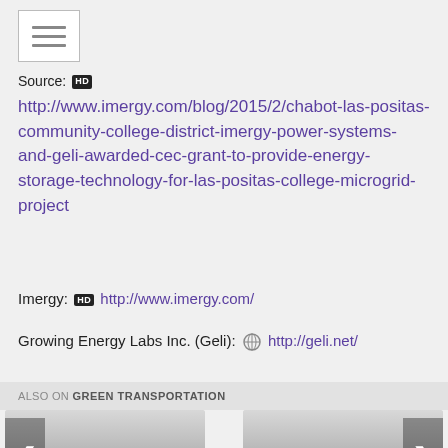[Figure (screenshot): Hamburger menu icon (three horizontal lines inside a bordered box)]
Source: HD
http://www.imergy.com/blog/2015/2/chabot-las-positas-community-college-district-imergy-power-systems-and-geli-awarded-cec-grant-to-provide-energy-storage-technology-for-las-positas-college-microgrid-project
Imergy: HD http://www.imergy.com/
Growing Energy Labs Inc. (Geli): 🌐 http://geli.net/
ALSO ON GREEN TRANSPORTATION
[Figure (screenshot): Card: left arrow nav, ago • 4 comments, Types of electric]
[Figure (screenshot): Card: 4 years ago • 1 comment, When will the, right arrow nav]